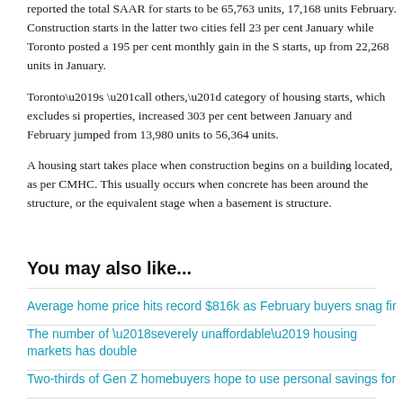reported the total SAAR for starts to be 65,763 units, 17,168 units February. Construction starts in the latter two cities fell 23 per cent January while Toronto posted a 195 per cent monthly gain in the S starts, up from 22,268 units in January.
Toronto’s “all others,” category of housing starts, which excludes si properties, increased 303 per cent between January and February jumped from 13,980 units to 56,364 units.
A housing start takes place when construction begins on a building located, as per CMHC. This usually occurs when concrete has been around the structure, or the equivalent stage when a basement is structure.
You may also like...
Average home price hits record $816k as February buyers snag fir
The number of ‘severely unaffordable’ housing markets has double
Two-thirds of Gen Z homebuyers hope to use personal savings for